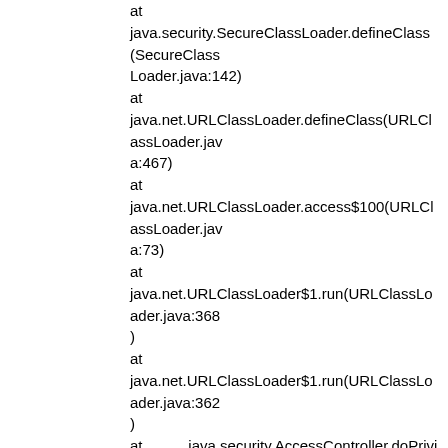at java.security.SecureClassLoader.defineClass(SecureClassLoader.java:142)
at java.net.URLClassLoader.defineClass(URLClassLoader.java:467)
at java.net.URLClassLoader.access$100(URLClassLoader.java:73)
at java.net.URLClassLoader$1.run(URLClassLoader.java:368)
at java.net.URLClassLoader$1.run(URLClassLoader.java:362)
at           java.security.AccessController.doPrivileged(NativeMethod)
at java.net.URLClassLoader.findClass(URLClassLoader.java:361)
at java.lang.ClassLoader.loadClass(ClassLoader.java:424)
at sun.misc.Launcher$AppClassLoader.loadClass(Launcher.java:...